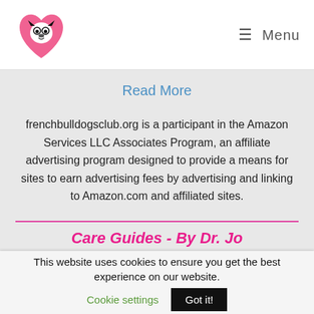Menu
Read More
frenchbulldogsclub.org is a participant in the Amazon Services LLC Associates Program, an affiliate advertising program designed to provide a means for sites to earn advertising fees by advertising and linking to Amazon.com and affiliated sites.
Care Guides - By Dr. Jo
Wrinkles
Eyes
This website uses cookies to ensure you get the best experience on our website.